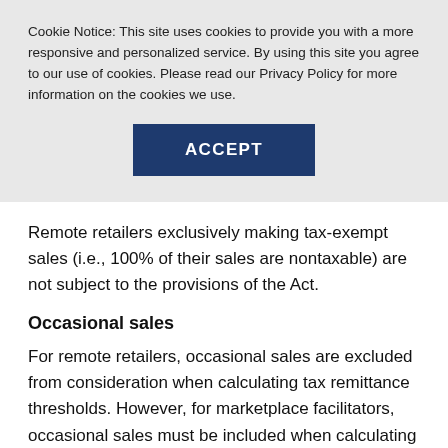Cookie Notice: This site uses cookies to provide you with a more responsive and personalized service. By using this site you agree to our use of cookies. Please read our Privacy Policy for more information on the cookies we use.
ACCEPT
Remote retailers exclusively making tax-exempt sales (i.e., 100% of their sales are nontaxable) are not subject to the provisions of the Act.
Occasional sales
For remote retailers, occasional sales are excluded from consideration when calculating tax remittance thresholds. However, for marketplace facilitators, occasional sales must be included when calculating tax remittance thresholds.